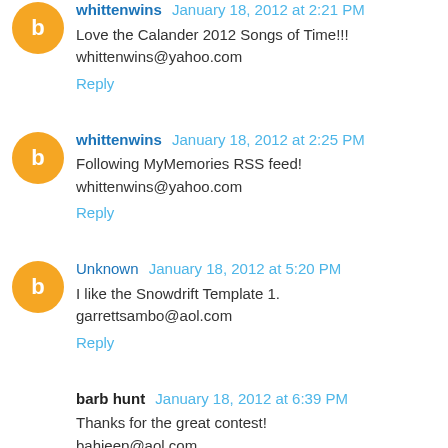whittenwins January 18, 2012 at 2:21 PM
Love the Calander 2012 Songs of Time!!!
whittenwins@yahoo.com
Reply
whittenwins January 18, 2012 at 2:25 PM
Following MyMemories RSS feed!
whittenwins@yahoo.com
Reply
Unknown January 18, 2012 at 5:20 PM
I like the Snowdrift Template 1. garrettsambo@aol.com
Reply
barb hunt January 18, 2012 at 6:39 PM
Thanks for the great contest!
bahjeep@aol.com